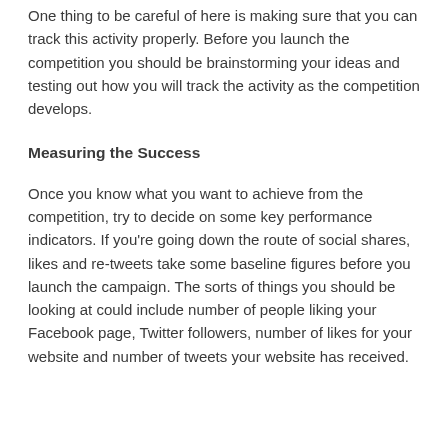One thing to be careful of here is making sure that you can track this activity properly. Before you launch the competition you should be brainstorming your ideas and testing out how you will track the activity as the competition develops.
Measuring the Success
Once you know what you want to achieve from the competition, try to decide on some key performance indicators. If you're going down the route of social shares, likes and re-tweets take some baseline figures before you launch the campaign. The sorts of things you should be looking at could include number of people liking your Facebook page, Twitter followers, number of likes for your website and number of tweets your website has received.